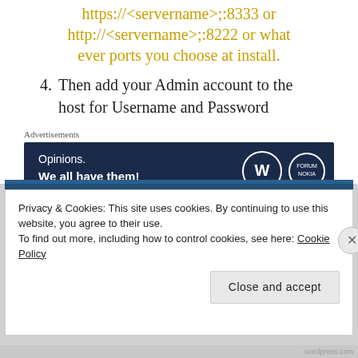https://<servername>;;8333 or http://<servername>;;8222 or what ever ports you choose at install.
4. Then add your Admin account to the host for Username and Password
Advertisements
[Figure (infographic): Advertisement banner: dark navy background with text 'Opinions. We all have them!' and WordPress and Forum logos on the right.]
Privacy & Cookies: This site uses cookies. By continuing to use this website, you agree to their use.
To find out more, including how to control cookies, see here: Cookie Policy
Close and accept